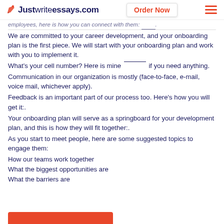Justwriteessays.com | Order Now
employees, here is how you can connect with them: ___ .
We are committed to your career development, and your onboarding plan is the first piece. We will start with your onboarding plan and work with you to implement it.
What's your cell number? Here is mine ______ if you need anything.
Communication in our organization is mostly (face-to-face, e-mail, voice mail, whichever apply).
Feedback is an important part of our process too. Here's how you will get it:.
Your onboarding plan will serve as a springboard for your development plan, and this is how they will fit together:.
As you start to meet people, here are some suggested topics to engage them:
How our teams work together
What the biggest opportunities are
What the barriers are